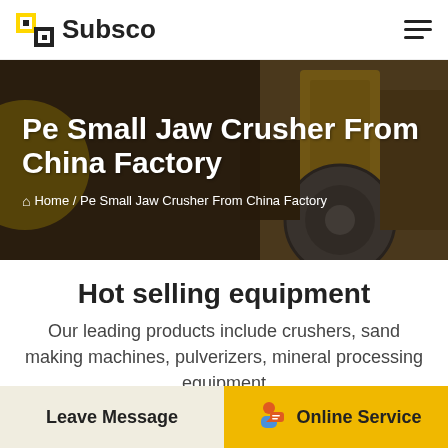[Figure (logo): Subsco company logo with yellow and black square icon and bold text 'Subsco']
Pe Small Jaw Crusher From China Factory
Home / Pe Small Jaw Crusher From China Factory
Hot selling equipment
Our leading products include crushers, sand making machines, pulverizers, mineral processing equipment and building materials equipment. They are widely
Leave Message
Online Service